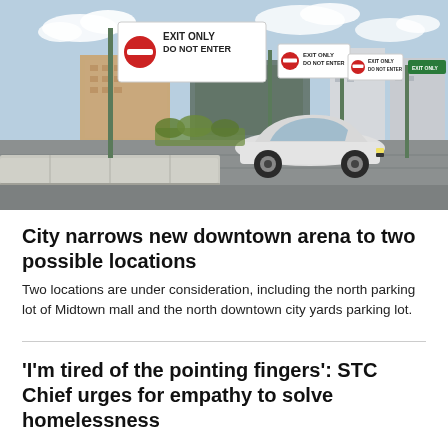[Figure (photo): A parking lot with 'EXIT ONLY DO NOT ENTER' signs on metal poles, a white BMW sedan driving through, concrete barriers in the foreground, and a city skyline with buildings in the background under a partly cloudy sky.]
City narrows new downtown arena to two possible locations
Two locations are under consideration, including the north parking lot of Midtown mall and the north downtown city yards parking lot.
'I'm tired of the pointing fingers': STC Chief urges for empathy to solve homelessness